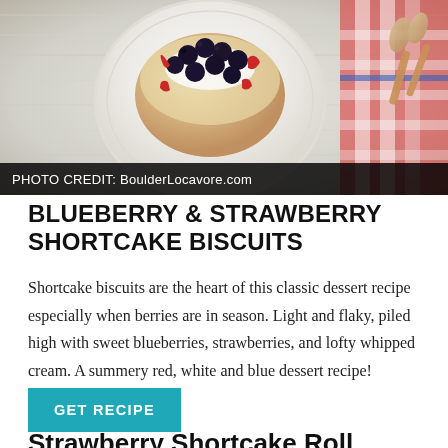[Figure (photo): Food photo of blueberry and strawberry shortcake biscuits on a white plate, with wooden utensils and a red checkered cloth visible. Photo credit bar reads: PHOTO CREDIT: BoulderLocavore.com]
BLUEBERRY & STRAWBERRY SHORTCAKE BISCUITS
Shortcake biscuits are the heart of this classic dessert recipe especially when berries are in season. Light and flaky, piled high with sweet blueberries, strawberries, and lofty whipped cream. A summery red, white and blue dessert recipe!
GET RECIPE
Strawberry Shortcake Roll